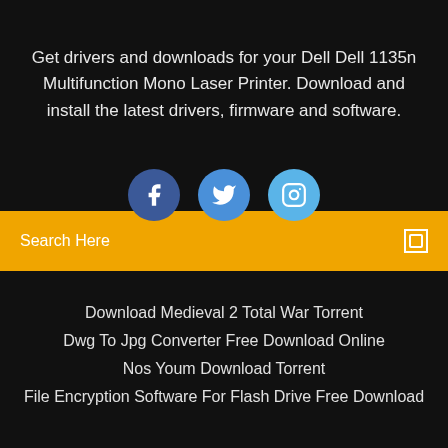Get drivers and downloads for your Dell Dell 1135n Multifunction Mono Laser Printer. Download and install the latest drivers, firmware and software.
[Figure (illustration): Three social media icon circles: Facebook (dark blue), Twitter (medium blue), Instagram (light blue)]
Search Here
Download Medieval 2 Total War Torrent
Dwg To Jpg Converter Free Download Online
Nos Youm Download Torrent
File Encryption Software For Flash Drive Free Download
Copyright ©2022 All rights reserved